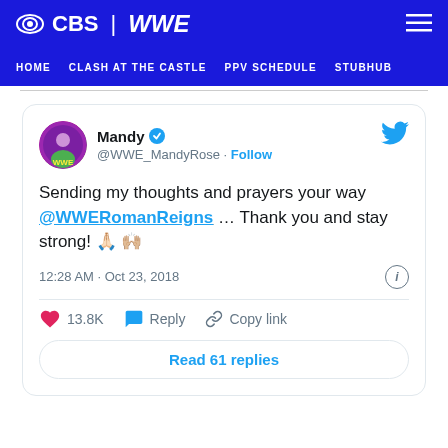CBS | WWE — HOME  CLASH AT THE CASTLE  PPV SCHEDULE  STUBHUB
[Figure (screenshot): Embedded tweet from @WWE_MandyRose (Mandy, verified) reading: Sending my thoughts and prayers your way @WWERomanReigns ... Thank you and stay strong! 🙏🏻🙌🏼  12:28 AM · Oct 23, 2018  13.8K likes  Reply  Copy link  Read 61 replies]